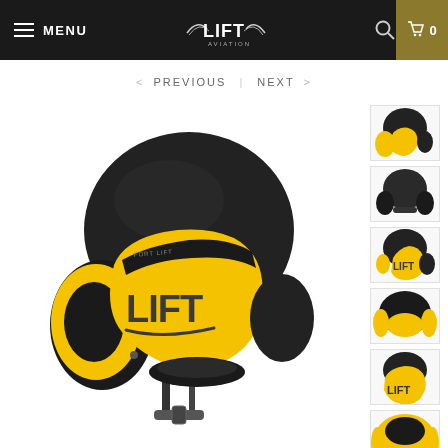MENU | LIFT Aviation logo | search | cart 0
< PREVIOUS | NEXT >
[Figure (photo): Main large product photo: LIFT Aviation pilot helmet, black dome with yellow ear cups and yellow visor area with LIFT logo in dark gray lettering, chin strap visible, three-quarter front view on white background]
[Figure (photo): Thumbnail 1: LIFT Aviation helmet, front-left angle view, yellow and black]
[Figure (photo): Thumbnail 2: LIFT Aviation helmet, rear view, mostly black]
[Figure (photo): Thumbnail 3: LIFT Aviation helmet, front-right quarter, yellow and black]
[Figure (photo): Thumbnail 4: LIFT Aviation helmet, top-front view, yellow and black]
[Figure (photo): Thumbnail 5: LIFT Aviation helmet, front-right angle with LIFT logo visible]
[Figure (photo): Thumbnail 6: LIFT Aviation helmet, top-down view, yellow visor prominent]